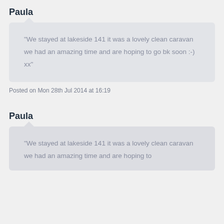Paula
“We stayed at lakeside 141 it was a lovely clean caravan we had an amazing time and are hoping to go bk soon :-) xx”
Posted on Mon 28th Jul 2014 at 16:19
Paula
“We stayed at lakeside 141 it was a lovely clean caravan we had an amazing time and are hoping to